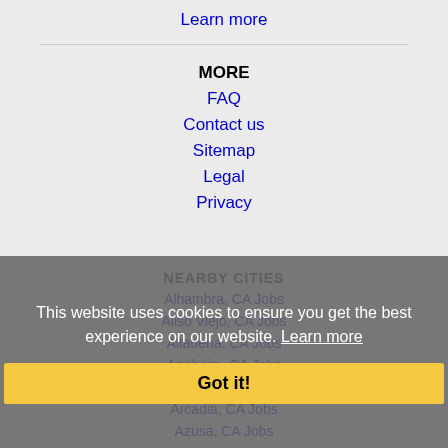Learn more
MORE
FAQ
Contact us
Sitemap
Legal
Privacy
NEARBY CITIES
Alhambra, CA Jobs
Aliso Viejo, CA Jobs
Altadena, CA Jobs
Anaheim, CA Jobs
Apple Valley, CA Jobs
Arcadia, CA Jobs
Azusa, CA Jobs
This website uses cookies to ensure you get the best experience on our website. Learn more
Got it!